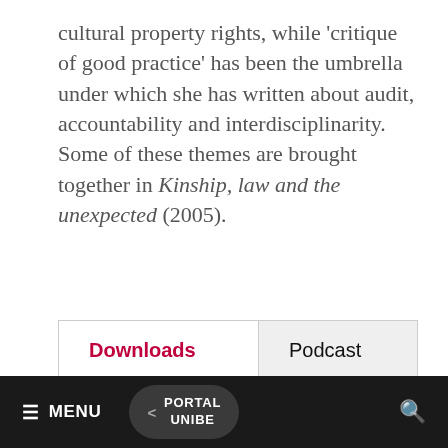cultural property rights, while 'critique of good practice' has been the umbrella under which she has written about audit, accountability and interdisciplinarity. Some of these themes are brought together in Kinship, law and the unexpected (2005).
| Downloads | Podcast |
| --- | --- |
| Weiterführende Links |  |
≡ MENU   < PORTAL UNIBE   🔍